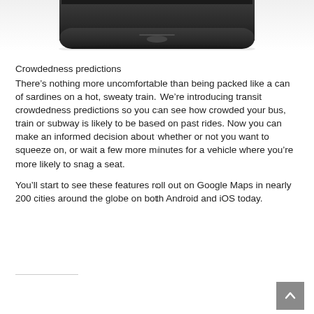[Figure (photo): Bottom portion of a smartphone device, dark/black color, showing the bottom bezel and edge of the screen]
Crowdedness predictions
There’s nothing more uncomfortable than being packed like a can of sardines on a hot, sweaty train. We’re introducing transit crowdedness predictions so you can see how crowded your bus, train or subway is likely to be based on past rides. Now you can make an informed decision about whether or not you want to squeeze on, or wait a few more minutes for a vehicle where you’re more likely to snag a seat.
You’ll start to see these features roll out on Google Maps in nearly 200 cities around the globe on both Android and iOS today.